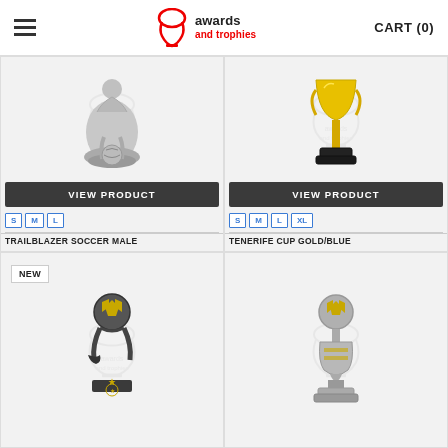Awards and Trophies — CART (0)
[Figure (photo): Silver soccer male figurine trophy - Trailblazer Soccer Male]
[Figure (photo): Gold cup trophy on black base - Tenerife Cup Gold/Blue]
[Figure (photo): NEW - Dark bronze soccer ball on boot trophy figurine]
[Figure (photo): Silver soccer ball globe trophy on pedestal]